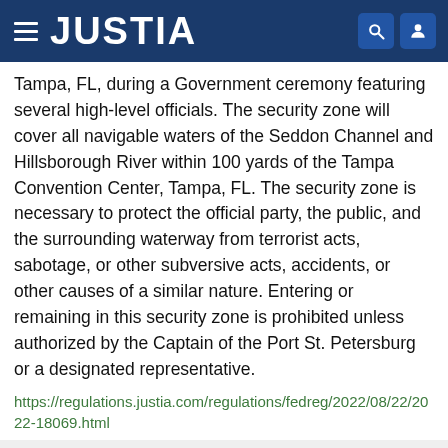JUSTIA
Tampa, FL, during a Government ceremony featuring several high-level officials. The security zone will cover all navigable waters of the Seddon Channel and Hillsborough River within 100 yards of the Tampa Convention Center, Tampa, FL. The security zone is necessary to protect the official party, the public, and the surrounding waterway from terrorist acts, sabotage, or other subversive acts, accidents, or other causes of a similar nature. Entering or remaining in this security zone is prohibited unless authorized by the Captain of the Port St. Petersburg or a designated representative.
https://regulations.justia.com/regulations/fedreg/2022/08/22/2022-18069.html
Endangered Species; Marine Mammals; Issuance of Permits